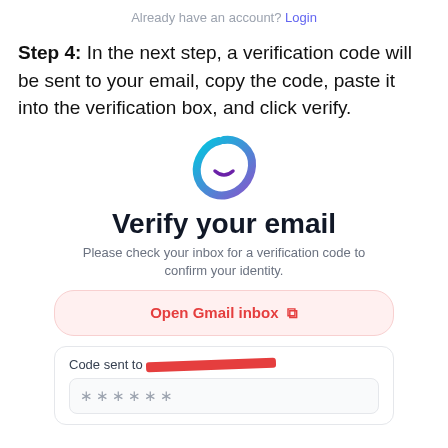Already have an account? Login
Step 4: In the next step, a verification code will be sent to your email, copy the code, paste it into the verification box, and click verify.
[Figure (logo): Circular gradient logo with a happy face, colored teal to purple gradient ring with white interior and a small smile arc]
Verify your email
Please check your inbox for a verification code to confirm your identity.
Open Gmail inbox
Code sent to [redacted email] ******